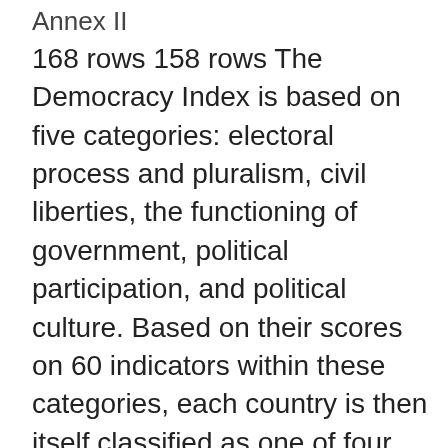Annex II
168 rows 158 rows The Democracy Index is based on five categories: electoral process and pluralism, civil liberties, the functioning of government, political participation, and political culture. Based on their scores on 60 indicators within these categories, each country is then itself classified as one of four types of regime: full democracy, flawed democracy, hybrid regime or authoritarian regime. In the 2019 Democracy Index the average global score for democracy fell from 5.48 in 2018 to 5.44 (on a scale of 0-10). This is the worst average global score since the index was first produced in 2006. Countries in western Europe occupy seven of the top ten places in the global democracy ranking, including the top three spots, and the region 2021-03-05 2020-02-25 The U.S. retained its rank as the